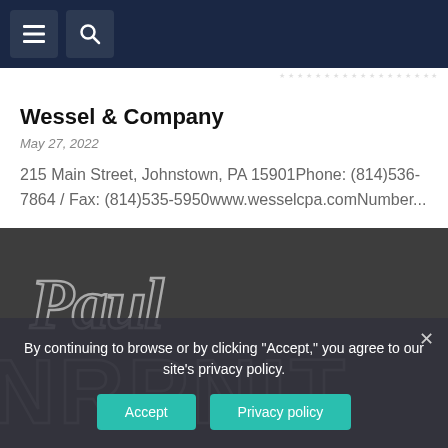Navigation bar with menu and search icons
Wessel & Company
May 27, 2022
215 Main Street, Johnstown, PA 15901Phone: (814)536-7864 / Fax: (814)535-5950www.wesselcpa.comNumber...
[Figure (photo): Decorative background image showing a stylized 'Paul' signature script text in metallic/chrome style, with large bold lettering below partially visible, overlaid by cookie consent banner]
By continuing to browse or by clicking "Accept," you agree to our site's privacy policy.
Accept   Privacy policy